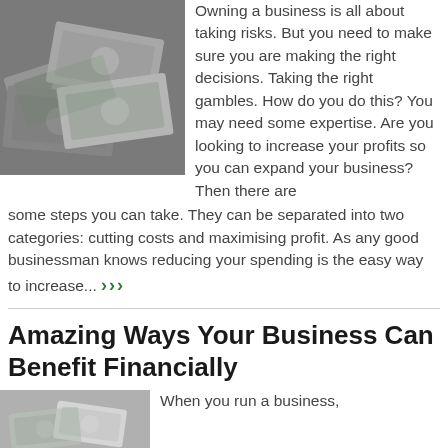[Figure (photo): Pile of US dollar bills scattered on a surface, black and white/grey toned photo]
Owning a business is all about taking risks. But you need to make sure you are making the right decisions. Taking the right gambles. How do you do this? You may need some expertise. Are you looking to increase your profits so you can expand your business? Then there are some steps you can take. They can be separated into two categories: cutting costs and maximising profit. As any good businessman knows reducing your spending is the easy way to increase... >>>
Amazing Ways Your Business Can Benefit Financially
[Figure (photo): Partial image of hands holding money or financial documents]
When you run a business,